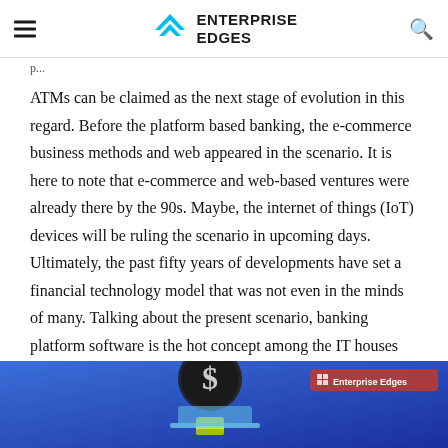Enterprise Edges
p...
ATMs can be claimed as the next stage of evolution in this regard. Before the platform based banking, the e-commerce business methods and web appeared in the scenario. It is here to note that e-commerce and web-based ventures were already there by the 90s. Maybe, the internet of things (IoT) devices will be ruling the scenario in upcoming days. Ultimately, the past fifty years of developments have set a financial technology model that was not even in the minds of many. Talking about the present scenario, banking platform software is the hot concept among the IT houses keeping the future in mind.
[Figure (illustration): Illustration showing a dollar coin and a laptop on a blue gradient background with 'Enterprise Edges' logo watermark in the bottom right corner.]